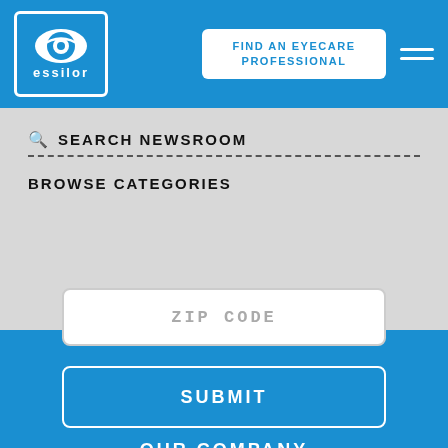[Figure (logo): Essilor logo: white eye icon with 'essilor' text inside a blue-bordered white rounded rectangle on blue background]
FIND AN EYECARE PROFESSIONAL
SEARCH NEWSROOM
BROWSE CATEGORIES
ZIP CODE
SUBMIT
OUR COMPANY
CAREERS
NEWSROOM